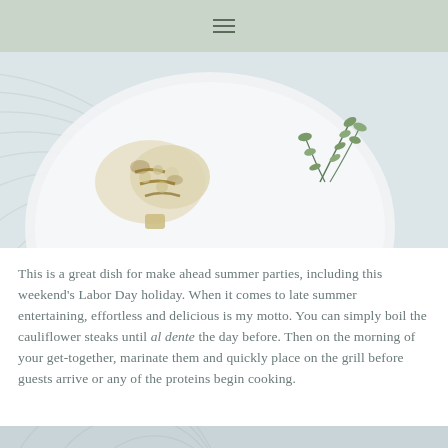≡
[Figure (photo): Close-up overhead photo of a white plate with a grilled cauliflower steak and fresh herb garnish (oregano or thyme sprigs), placed on a white woven placemat.]
This is a great dish for make ahead summer parties, including this weekend's Labor Day holiday. When it comes to late summer entertaining, effortless and delicious is my motto. You can simply boil the cauliflower steaks until al dente the day before. Then on the morning of your get-together, marinate them and quickly place on the grill before guests arrive or any of the proteins begin cooking.
[Figure (photo): Bottom strip of the woven white placemat photo, partially visible at the bottom of the page.]